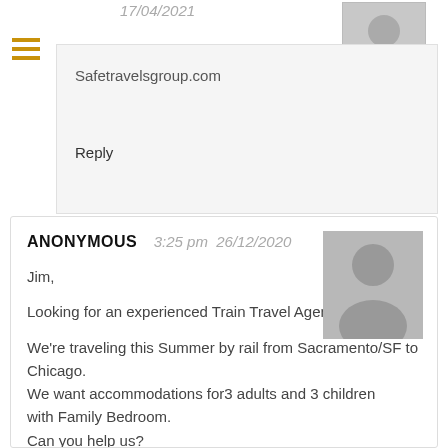17/04/2021
Safetravelsgroup.com
Reply
ANONYMOUS   3:25 pm  26/12/2020
Jim,

Looking for an experienced Train Travel Agent.

We're traveling this Summer by rail from Sacramento/SF to Chicago.
We want accommodations for3 adults and 3 children with Family Bedroom.
Can you help us?